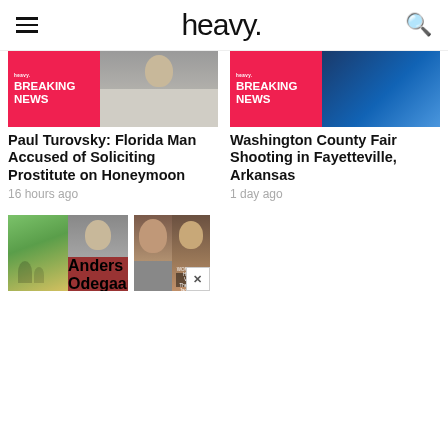heavy.
[Figure (photo): Breaking news banner with red tile and man mugshot photo - Paul Turovsky story]
[Figure (photo): Breaking news banner with heavy. logo and blue background - Washington County Fair story]
Paul Turovsky: Florida Man Accused of Soliciting Prostitute on Honeymoon
Washington County Fair Shooting in Fayetteville, Arkansas
16 hours ago
1 day ago
[Figure (photo): Two photos: family photo on left, male mugshot on right - Anders Odegaard story]
[Figure (photo): Two photos: older woman mugshot on left, woman in dark setting on right - Esmeralda Upton story]
Anders Odegaard
Esmeralda Upton: